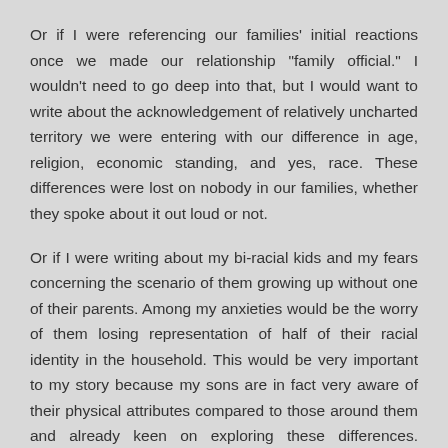Or if I were referencing our families' initial reactions once we made our relationship “family official.”  I wouldn’t need to go deep into that, but I would want to write about the acknowledgement of relatively uncharted territory we were entering with our difference in age, religion, economic standing, and yes, race.  These differences were lost on nobody in our families, whether they spoke about it out loud or not.
Or if I were writing about my bi-racial kids and my fears concerning the scenario of them growing up without one of their parents.  Among my anxieties would be the worry of them losing representation of half of their racial identity in the household.  This would be very important to my story because my sons are in fact very aware of their physical attributes compared to those around them and already keen on exploring these differences.  There’s already an awareness of implicit value that society places on skin complexions, particularly noticed by my older son, who is six years old.  My wife and I are the key figures in guiding their exploration of how they will ultimately